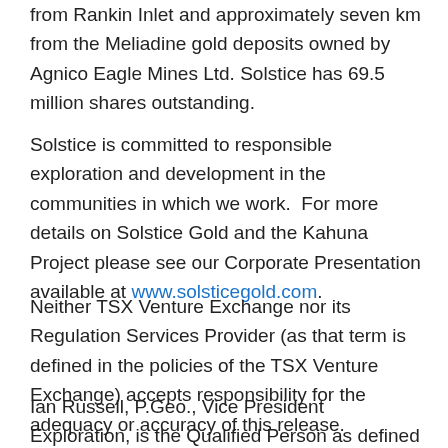from Rankin Inlet and approximately seven km from the Meliadine gold deposits owned by Agnico Eagle Mines Ltd. Solstice has 69.5 million shares outstanding.
Solstice is committed to responsible exploration and development in the communities in which we work.  For more details on Solstice Gold and the Kahuna Project please see our Corporate Presentation available at www.solsticegold.com.
Neither TSX Venture Exchange nor its Regulation Services Provider (as that term is defined in the policies of the TSX Venture Exchange) accepts responsibility for the adequacy or accuracy of this release.
Ian Russell, P.Geo., Vice President Exploration, is the Qualified Person as defined by NI 43-101 standards responsible for reviewing and supervising the technical